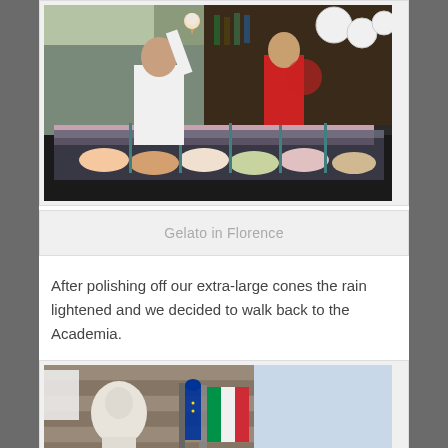[Figure (photo): A child holding up a gelato ice cream cone at a gelato shop counter in Florence, Italy. A vendor in red and white is visible behind the counter displaying various gelato flavors. Round white lamp shades hang from the ceiling.]
Gelato in Florence
After polishing off our extra-large cones the rain lightened and we decided to walk back to the Academia.
[Figure (photo): Outdoor scene in Florence showing a stone building facade with flags including an Italian flag, and a white marble statue in the foreground.]